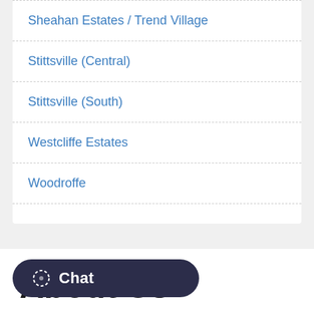Sheahan Estates / Trend Village
Stittsville (Central)
Stittsville (South)
Westcliffe Estates
Woodroffe
About Us
s Representative
Claude Jobin Représentant des ventes